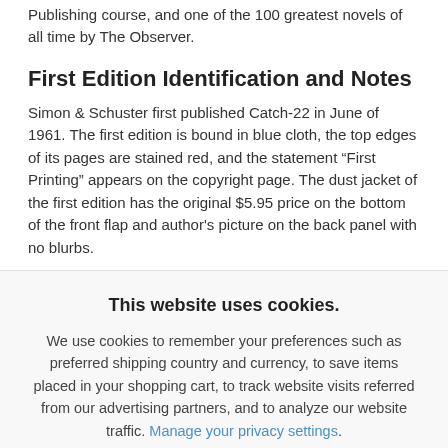Publishing course, and one of the 100 greatest novels of all time by The Observer.
First Edition Identification and Notes
Simon & Schuster first published Catch-22 in June of 1961. The first edition is bound in blue cloth, the top edges of its pages are stained red, and the statement "First Printing" appears on the copyright page. The dust jacket of the first edition has the original $5.95 price on the bottom of the front flap and author's picture on the back panel with no blurbs.
This website uses cookies.
We use cookies to remember your preferences such as preferred shipping country and currency, to save items placed in your shopping cart, to track website visits referred from our advertising partners, and to analyze our website traffic. Manage your privacy settings.
AGREE AND CLOSE